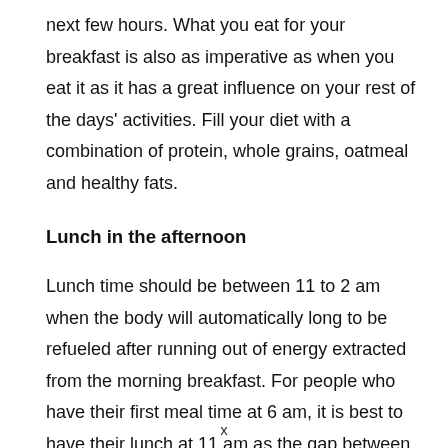next few hours. What you eat for your breakfast is also as imperative as when you eat it as it has a great influence on your rest of the days' activities. Fill your diet with a combination of protein, whole grains, oatmeal and healthy fats.
Lunch in the afternoon
Lunch time should be between 11 to 2 am when the body will automatically long to be refueled after running out of energy extracted from the morning breakfast. For people who have their first meal time at 6 am, it is best to have their lunch at 11 am as the gap between two meals time would go beyond 5 hours which might disrupt your metabolism. Lunch should be heavy a[redacted]
x